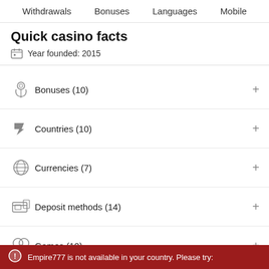Withdrawals  Bonuses  Languages  Mobile
Quick casino facts
Year founded: 2015
Bonuses (10)
Countries (10)
Currencies (7)
Deposit methods (14)
Games (10)
Languages (7)
Licenses (2)
Software (23)
Empire777 is not available in your country. Please try: